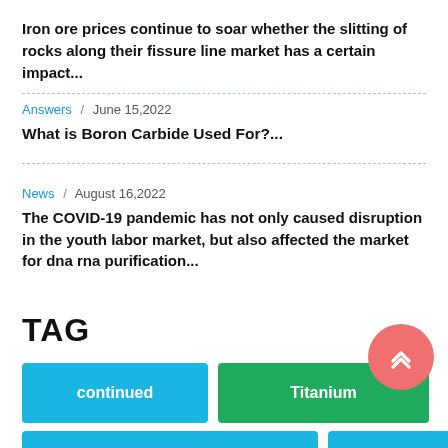Iron ore prices continue to soar whether the slitting of rocks along their fissure line market has a certain impact...
Answers / June 15,2022
What is Boron Carbide Used For?...
News / August 16,2022
The COVID-19 pandemic has not only caused disruption in the youth labor market, but also affected the market for dna rna purification...
TAG
continued
Titanium
concrete foaming agent
zinc sulphide